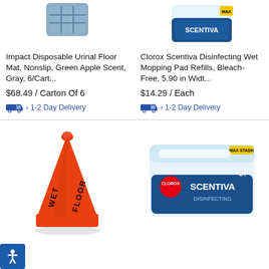[Figure (photo): Impact Disposable Urinal Floor Mat product image (partially visible at top)]
[Figure (photo): Clorox Scentiva Disinfecting Wet Mopping Pad Refills product image (partially visible at top)]
Impact Disposable Urinal Floor Mat, Nonslip, Green Apple Scent, Gray, 6/Cart...
Clorox Scentiva Disinfecting Wet Mopping Pad Refills, Bleach-Free, 5.90 in Widt...
$68.49 / Carton Of 6
$14.29 / Each
1-2 Day Delivery
1-2 Day Delivery
[Figure (photo): Orange wet floor warning cone with 'WET FLOOR' text written vertically]
[Figure (photo): Clorox Scentiva Disinfecting wet mopping pad refills container — white tub with blue Scentiva label]